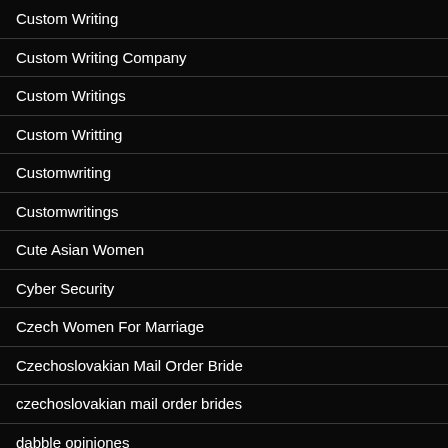Custom Writing
Custom Writing Company
Custom Writings
Custom Writting
Customwriting
Customwritings
Cute Asian Women
Cyber Security
Czech Women For Marriage
Czechoslovakian Mail Order Bride
czechoslovakian mail order brides
dabble opiniones
daddyhunt probemonat